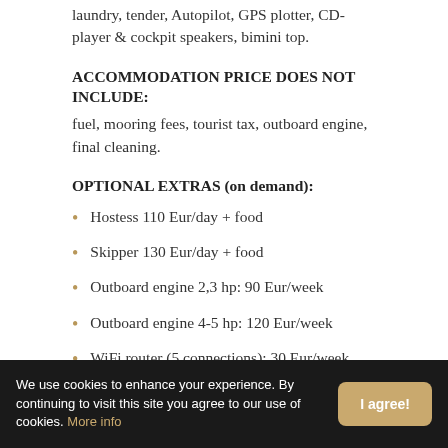laundry, tender, Autopilot, GPS plotter, CD-player & cockpit speakers, bimini top.
ACCOMMODATION PRICE DOES NOT INCLUDE:
fuel, mooring fees, tourist tax, outboard engine, final cleaning.
OPTIONAL EXTRAS (on demand):
Hostess 110 Eur/day + food
Skipper 130 Eur/day + food
Outboard engine 2,3 hp: 90 Eur/week
Outboard engine 4-5 hp: 120 Eur/week
WiFi router (5 connections): 30 Eur/week
We use cookies to enhance your experience. By continuing to visit this site you agree to our use of cookies. More info